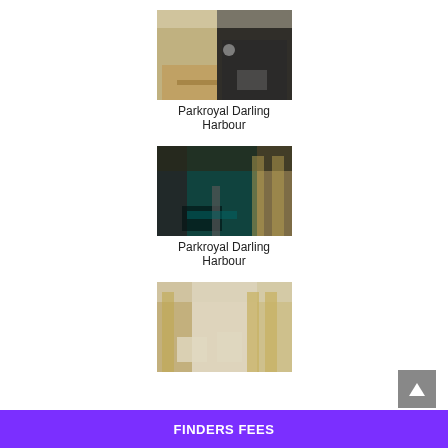[Figure (photo): Interior photo of Parkroyal Darling Harbour hotel - dining/meeting area with wooden table and modern decor]
Parkroyal Darling Harbour
[Figure (photo): Interior corridor/hallway photo of Parkroyal Darling Harbour hotel with dark walls and teal carpet, person walking]
Parkroyal Darling Harbour
[Figure (photo): Interior lounge area photo of Parkroyal Darling Harbour hotel with floor-to-ceiling windows and light wood panels]
FINDERS FEES